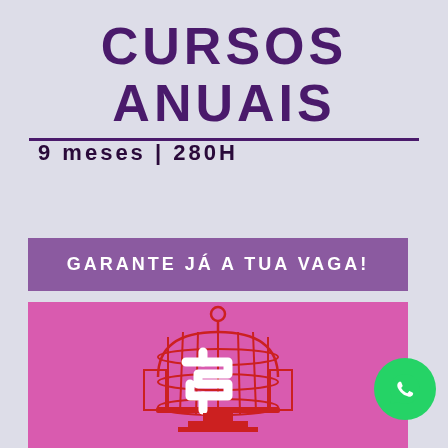CURSOS ANUAIS
9 meses  |  280H
GARANTE JÁ A TUA VAGA!
[Figure (illustration): Pink background with a red birdcage illustration containing a white maze/labyrinth logo. A green WhatsApp icon button is overlaid on the right side.]